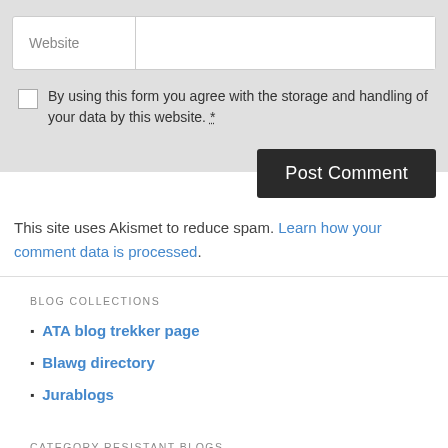Website
By using this form you agree with the storage and handling of your data by this website. *
Post Comment
This site uses Akismet to reduce spam. Learn how your comment data is processed.
BLOG COLLECTIONS
ATA blog trekker page
Blawg directory
Jurablogs
CATEGORY-RESISTANT BLOGS
Desbladet